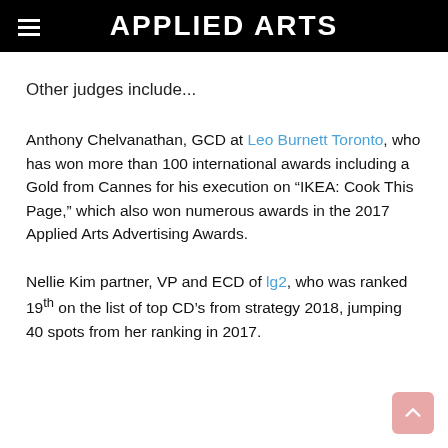APPLIED ARTS
Other judges include...
Anthony Chelvanathan, GCD at Leo Burnett Toronto, who has won more than 100 international awards including a Gold from Cannes for his execution on “IKEA: Cook This Page,” which also won numerous awards in the 2017 Applied Arts Advertising Awards.
Nellie Kim partner, VP and ECD of lg2, who was ranked 19th on the list of top CD’s from strategy 2018, jumping 40 spots from her ranking in 2017.